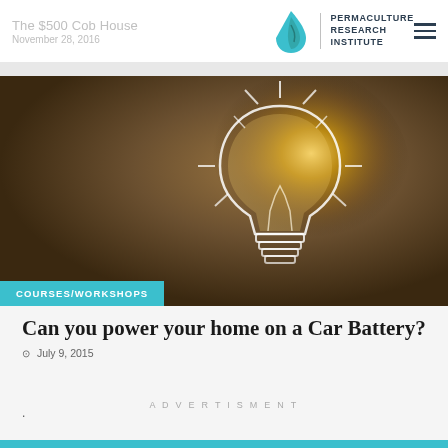The $500 Cob House
November 28, 2016
[Figure (logo): Permaculture Research Institute logo with teal flame/leaf drop icon and text PERMACULTURE RESEARCH INSTITUTE]
[Figure (photo): A glowing light bulb drawn in chalk/sketch style on a dark textured background, illuminated with warm golden light, rays emanating outward]
COURSES/WORKSHOPS
Can you power your home on a Car Battery?
July 9, 2015
ADVERTISMENT
.